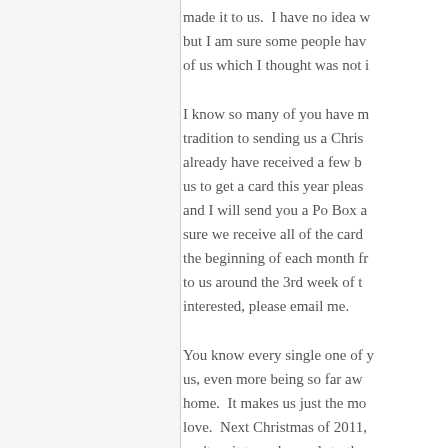made it to us.  I have no idea w but I am sure some people hav of us which I thought was not i
I know so many of you have m tradition to sending us a Chris already have received a few b us to get a card this year plea and I will send you a Po Box a sure we receive all of the card the beginning of each month f to us around the 3rd week of t interested, please email me.
You know every single one of y us, even more being so far aw home.  It makes us just the m love.  Next Christmas of 2011, can't wait to make cards to th a notch the sending no matte